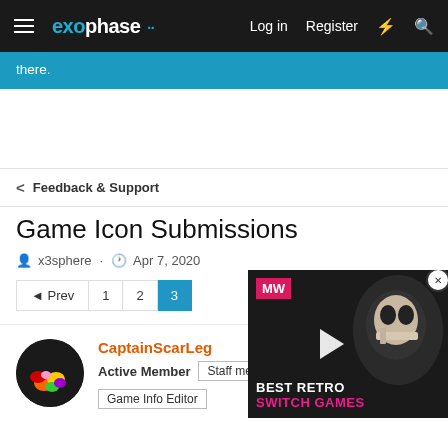exophase — Log in  Register
there.
< Feedback & Support
Game Icon Submissions
x3sphere · Apr 7, 2020
Prev 1 2 3
CaptainScarLeg
Active Member  Staff member  Game Info Editor